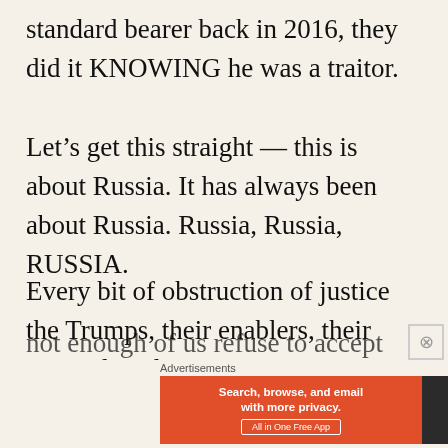standard bearer back in 2016, they did it KNOWING he was a traitor.
Let’s get this straight — this is about Russia. It has always been about Russia. Russia, Russia, RUSSIA.
Every bit of obstruction of justice the Trumps, their enablers, their party played, was meant to cover up a secret that everyone already knows (but, apparently, not enough of us refuse to accept still):
Advertisements
[Figure (screenshot): DuckDuckGo advertisement banner with orange left panel reading 'Search, browse, and email with more privacy. All in One Free App' and dark right panel with DuckDuckGo logo and duck icon.]